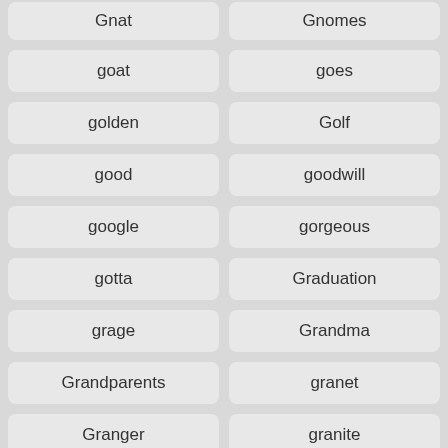Gnat
Gnomes
goat
goes
golden
Golf
good
goodwill
google
gorgeous
gotta
Graduation
grage
Grandma
Grandparents
granet
Granger
granite
grant
Gravity